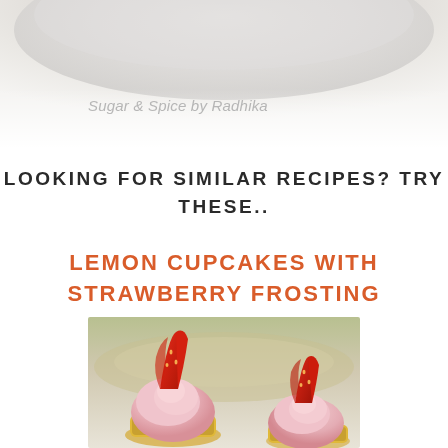[Figure (photo): Top portion of a food/recipe blog page showing a blurred white/gray background with a plate or bowl, watermarked with 'Sugar & Spice by Radhika']
Sugar & Spice by Radhika
LOOKING FOR SIMILAR RECIPES? TRY THESE..
LEMON CUPCAKES WITH STRAWBERRY FROSTING
[Figure (photo): Close-up photo of lemon cupcakes with pink strawberry frosting topped with fresh strawberry slices, in yellow cupcake liners, on a decorative plate background]